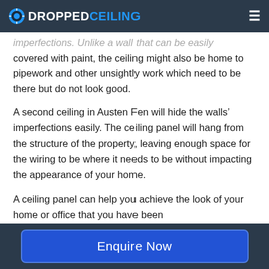DROPPEDCEILING
imperfections. Unlike a wall that can be easily covered with paint, the ceiling might also be home to pipework and other unsightly work which need to be there but do not look good.
A second ceiling in Austen Fen will hide the walls’ imperfections easily. The ceiling panel will hang from the structure of the property, leaving enough space for the wiring to be where it needs to be without impacting the appearance of your home.
A ceiling panel can help you achieve the look of your home or office that you have been
Enquire Now